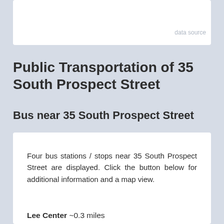data source
Public Transportation of 35 South Prospect Street
Bus near 35 South Prospect Street
Four bus stations / stops near 35 South Prospect Street are displayed. Click the button below for additional information and a map view.
Lee Center ~0.3 miles